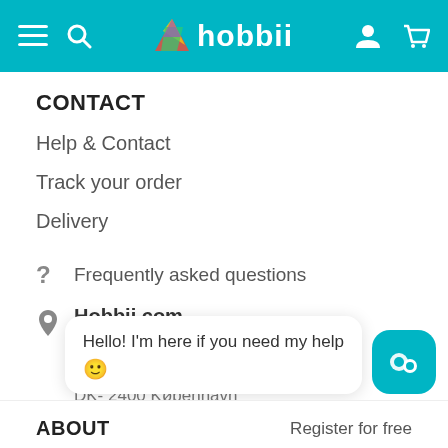hobbii (navigation header with hamburger, search, logo, user, cart icons)
CONTACT
Help & Contact
Track your order
Delivery
Frequently asked questions
Hobbii.com
Org. nr: 36909587
Dortheavej 8
DK- 2400 København
Hello! I'm here if you need my help 😊
ABOUT
About Hobbii    Register for free